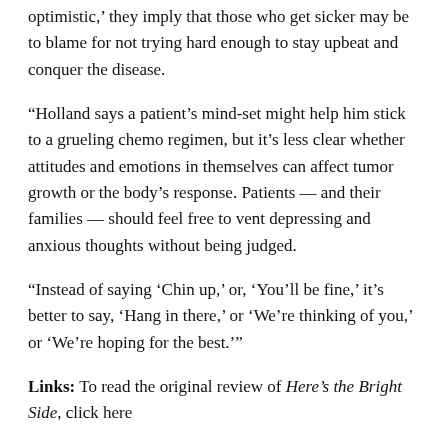optimistic,' they imply that those who get sicker may be to blame for not trying hard enough to stay upbeat and conquer the disease.
“Holland says a patient’s mind-set might help him stick to a grueling chemo regimen, but it’s less clear whether attitudes and emotions in themselves can affect tumor growth or the body’s response. Patients — and their families — should feel free to vent depressing and anxious thoughts without being judged.
“Instead of saying ‘Chin up,’ or, ‘You’ll be fine,’ it’s better to say, ‘Hang in there,’ or ‘We’re thinking of you,’ or ‘We’re hoping for the best.’”
Links: To read the original review of Here’s the Bright Side, click here